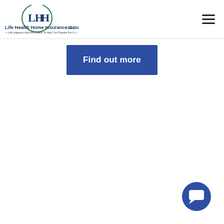Life Health Home Insurance Group, LLC — Life Happens And We're Here To Help You Prepare For It
Find out more
[Figure (illustration): Chat bubble icon button — circular dark blue button with a white speech bubble / chat icon, positioned bottom right of the page]